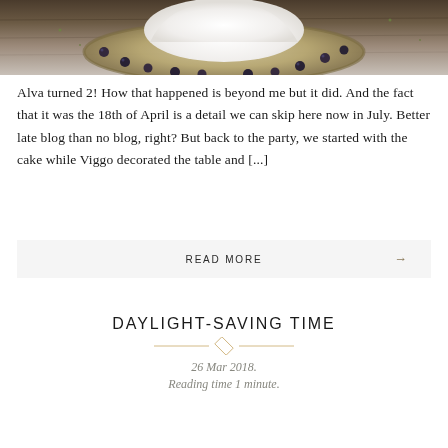[Figure (photo): Photo of a dessert (white cream/meringue) in a ceramic bowl decorated with blueberries, on a wooden surface]
Alva turned 2! How that happened is beyond me but it did. And the fact that it was the 18th of April is a detail we can skip here now in July. Better late blog than no blog, right? But back to the party, we started with the cake while Viggo decorated the table and [...]
READ MORE →
DAYLIGHT-SAVING TIME
26 Mar 2018. Reading time 1 minute.